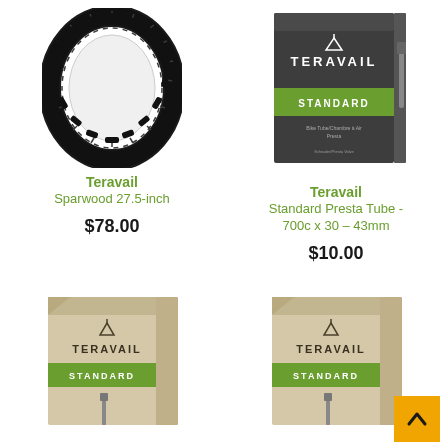[Figure (photo): Teravail Sparwood 27.5-inch bicycle tire, black knobby tread, shown in circular form against white background]
Teravail
Sparwood 27.5-inch
$78.00
[Figure (photo): Teravail Standard Presta Tube box, dark grey/charcoal box with green STANDARD band, showing tube product inside]
Teravail
Standard Presta Tube - 700c x 30 – 43mm
$10.00
[Figure (photo): Teravail Standard tube box, beige/kraft cardboard box with TERAVAIL logo and green STANDARD band, partially cropped at bottom]
[Figure (photo): Teravail Standard tube box, beige/kraft cardboard box with TERAVAIL logo and green STANDARD band, partially cropped at bottom, with orange scroll-to-top button overlay]